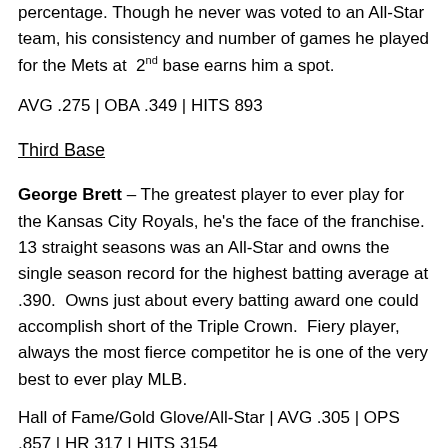percentage. Though he never was voted to an All-Star team, his consistency and number of games he played for the Mets at 2nd base earns him a spot.
AVG .275 | OBA .349 | HITS 893
Third Base
George Brett – The greatest player to ever play for the Kansas City Royals, he's the face of the franchise. 13 straight seasons was an All-Star and owns the single season record for the highest batting average at .390. Owns just about every batting award one could accomplish short of the Triple Crown. Fiery player, always the most fierce competitor he is one of the very best to ever play MLB.
Hall of Fame/Gold Glove/All-Star | AVG .305 | OPS .857 | HR 317 | HITS 3154
Kevin Seitzer – The man who ultimately replaced George Brett at Third base was a hitting machine. He